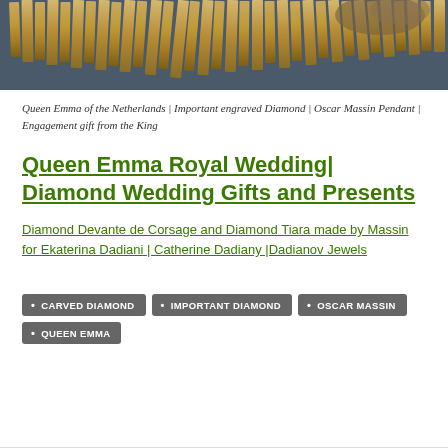[Figure (photo): Close-up photograph of golden/amber colored jewelry or decorative fringe elements, likely a tiara or ornamental piece with rectangular gold segments arranged in a fan/fringe pattern against a dark background.]
Queen Emma of the Netherlands | Important engraved Diamond | Oscar Massin Pendant | Engagement gift from the King
Queen Emma Royal Wedding| Diamond Wedding Gifts and Presents
Diamond Devante de Corsage and Diamond Tiara made by Massin for Ekaterina Dadiani | Catherine Dadiany |Dadianov Jewels
CARVED DIAMOND
IMPORTANT DIAMOND
OSCAR MASSIN
QUEEN EMMA